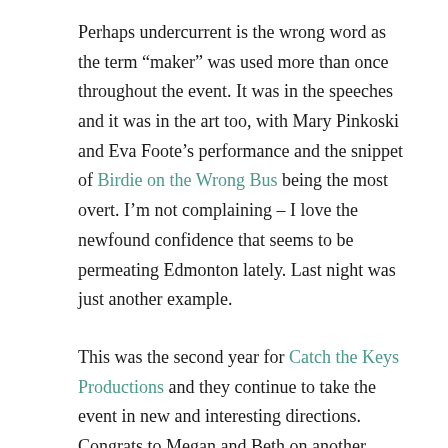Perhaps undercurrent is the wrong word as the term “maker” was used more than once throughout the event. It was in the speeches and it was in the art too, with Mary Pinkoski and Eva Foote’s performance and the snippet of Birdie on the Wrong Bus being the most overt. I’m not complaining – I love the newfound confidence that seems to be permeating Edmonton lately. Last night was just another example.
This was the second year for Catch the Keys Productions and they continue to take the event in new and interesting directions. Congrats to Megan and Beth on another excellent evening! The program had a good consistent pace even though more time was given this year to talk about the nominees (which I really appreciated). Elm Cafe was again brought in to cater